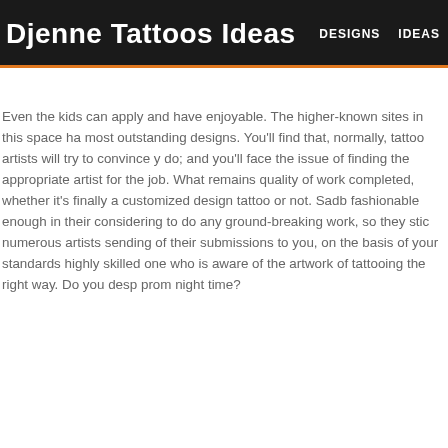Djenne Tattoos Ideas | DESIGNS | IDEAS
Even the kids can apply and have enjoyable. The higher-known sites in this space ha most outstanding designs. You'll find that, normally, tattoo artists will try to convince y do; and you'll face the issue of finding the appropriate artist for the job. What remains quality of work completed, whether it's finally a customized design tattoo or not. Sadb fashionable enough in their considering to do any ground-breaking work, so they stic numerous artists sending of their submissions to you, on the basis of your standards highly skilled one who is aware of the artwork of tattooing the right way. Do you desp prom night time?